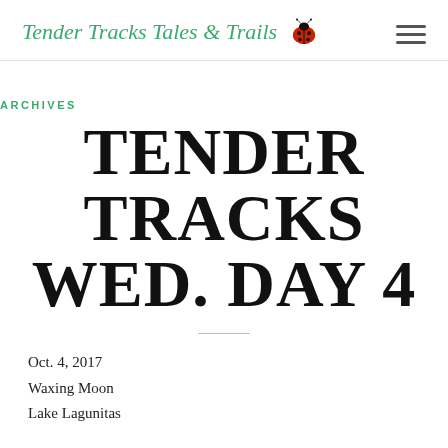Tender Tracks Tales & Trails
ARCHIVES
TENDER TRACKS WED. DAY 4
Oct. 4, 2017
Waxing Moon
Lake Lagunitas
I barely know where to begin other then WOW, the